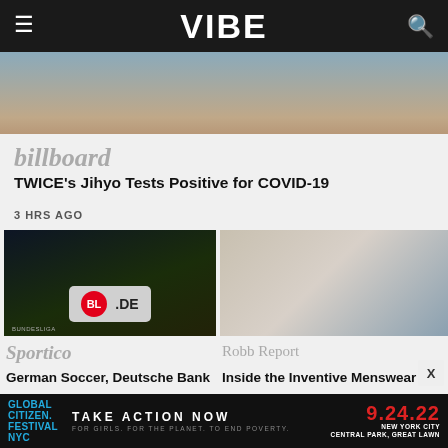VIBE
[Figure (photo): Partial view of a person against a blue background, cropped header image]
billboard
TWICE's Jihyo Tests Positive for COVID-19
3 HRS AGO
[Figure (photo): Bundesliga signage with .DE text in front of a stadium at night]
[Figure (photo): Man in black leather jacket sitting at a desk in a menswear shop]
Sportico
Robb Report
German Soccer, Deutsche Bank in Talks to Sell 20% of
Inside the Inventive Menswear Shop Bringing
[Figure (infographic): Global Citizen Festival NYC advertisement — TAKE ACTION NOW 9.24.22 New York City Central Park, Great Lawn]